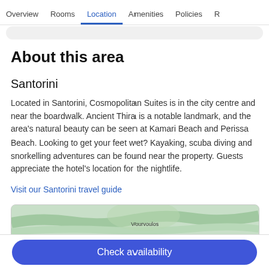Overview  Rooms  Location  Amenities  Policies  R
About this area
Santorini
Located in Santorini, Cosmopolitan Suites is in the city centre and near the boardwalk. Ancient Thira is a notable landmark, and the area's natural beauty can be seen at Kamari Beach and Perissa Beach. Looking to get your feet wet? Kayaking, scuba diving and snorkelling adventures can be found near the property. Guests appreciate the hotel's location for the nightlife.
Visit our Santorini travel guide
[Figure (map): Map preview showing Vourvoulos area in Santorini]
Check availability